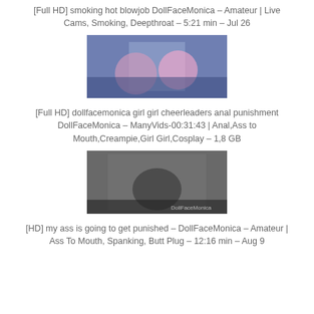[Full HD] smoking hot blowjob DollFaceMonica – Amateur | Live Cams, Smoking, Deepthroat – 5:21 min – Jul 26
[Figure (photo): Thumbnail image of two cosplay women on a bed with purple background]
[Full HD] dollfacemonica girl girl cheerleaders anal punishment DollFaceMonica – ManyVids-00:31:43 | Anal,Ass to Mouth,Creampie,Girl Girl,Cosplay – 1,8 GB
[Figure (photo): Thumbnail image of a woman in dark clothing with DollFaceMonica watermark]
[HD] my ass is going to get punished – DollFaceMonica – Amateur | Ass To Mouth, Spanking, Butt Plug – 12:16 min – Aug 9